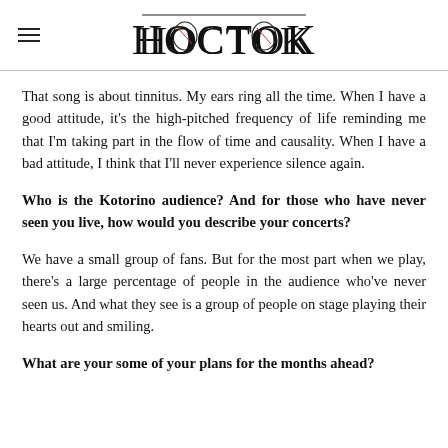HOCTOK
That song is about tinnitus. My ears ring all the time. When I have a good attitude, it's the high-pitched frequency of life reminding me that I'm taking part in the flow of time and causality. When I have a bad attitude, I think that I'll never experience silence again.
Who is the Kotorino audience? And for those who have never seen you live, how would you describe your concerts?
We have a small group of fans. But for the most part when we play, there's a large percentage of people in the audience who've never seen us. And what they see is a group of people on stage playing their hearts out and smiling.
What are your some of your plans for the months ahead?